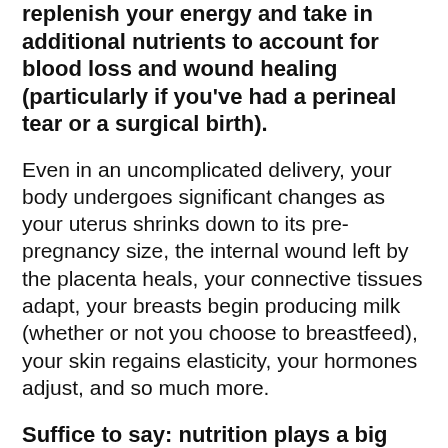replenish your energy and take in additional nutrients to account for blood loss and wound healing (particularly if you've had a perineal tear or a surgical birth).
Even in an uncomplicated delivery, your body undergoes significant changes as your uterus shrinks down to its pre-pregnancy size, the internal wound left by the placenta heals, your connective tissues adapt, your breasts begin producing milk (whether or not you choose to breastfeed), your skin regains elasticity, your hormones adjust, and so much more.
Suffice to say: nutrition plays a big role in